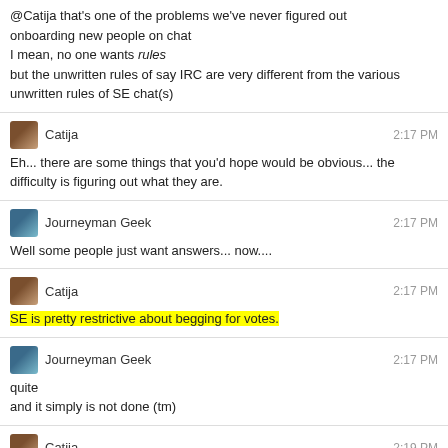@Catija that's one of the problems we've never figured out
onboarding new people on chat
I mean, no one wants rules
but the unwritten rules of say IRC are very different from the various unwritten rules of SE chat(s)
Catija 2:17 PM
Eh... there are some things that you'd hope would be obvious... the difficulty is figuring out what they are.
Journeyman Geek 2:17 PM
Well some people just want answers... now....
Catija 2:17 PM
SE is pretty restrictive about begging for votes.
Journeyman Geek 2:17 PM
quite
and it simply is not done (tm)
Catija 2:19 PM
Asking for answers isn't as big of a deal if you're asking the right audience and in the right way... there's a huge difference between OMG, why isn't anyone answering my awesome question... come on people, stop chatting and go answer it and Hi! Could someone look at my question and help me improve it so that I can get answers? It's really important to me and I'm not sure where I've made a mistake.
Magisch 2:19 PM